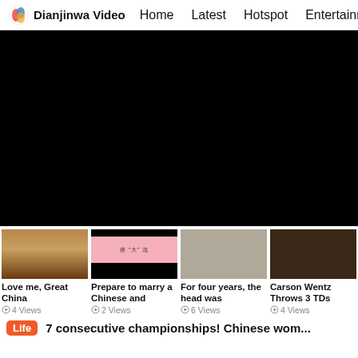Dianjinwa Video  Home  Latest  Hotspot  Entertainment
[Figure (screenshot): Large black video player area]
[Figure (photo): Thumbnail 1: Love me, Great China - wooden item]
Love me, Great China
4 Views
[Figure (screenshot): Thumbnail 2: Prepare to marry a Chinese and - pink/black graphic]
Prepare to marry a Chinese and
2 Views
[Figure (photo): Thumbnail 3: For four years, the head was - dark thumbnail]
For four years, the head was
6 Views
[Figure (photo): Thumbnail 4: Carson Wentz Throws 3 TDs - dark thumbnail]
Carson Wentz Throws 3 TDs
4 Views
Life  7 consecutive championships! Chinese wom...